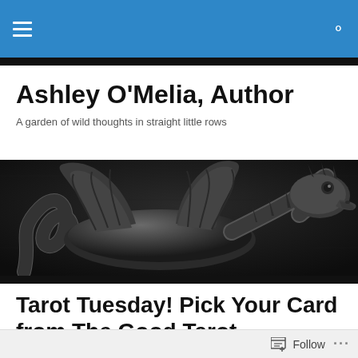Navigation bar with menu and search icons
Ashley O'Melia, Author
A garden of wild thoughts in straight little rows
[Figure (photo): Dark embossed leather dragon image, showing a dragon with wings and detailed scales on a dark textured background]
Tarot Tuesday! Pick Your Card from The Good Tarot
Follow  ...